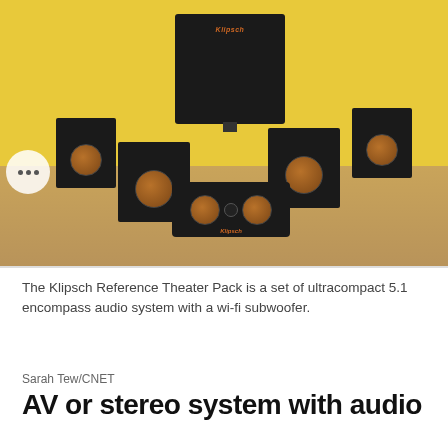[Figure (photo): A Klipsch Reference Theater Pack 5.1 speaker system arranged on a wood surface against a yellow wall. The set includes a large black subwoofer in the center back, four small satellite speakers (two on each side), and a center channel speaker in the front. Speakers have copper-colored drivers.]
The Klipsch Reference Theater Pack is a set of ultracompact 5.1 encompass audio system with a wi-fi subwoofer.
Sarah Tew/CNET
AV or stereo system with audio